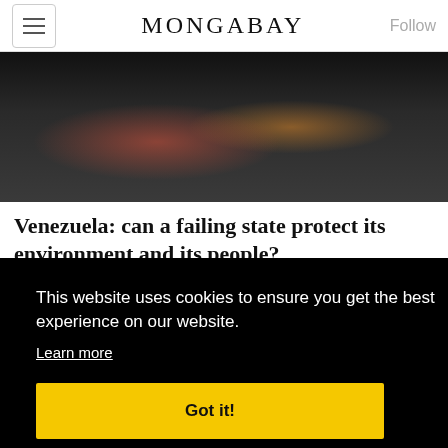MONGABAY
[Figure (photo): Street scene with people standing near a vehicle]
Venezuela: can a failing state protect its environment and its people?
BY GLENN SCHERER 1 FEBRUARY 2018
As Venezuela sinks into chaos and
This website uses cookies to ensure you get the best experience on our website.
Learn more
Got it!
[Figure (photo): People at the bottom of the page]